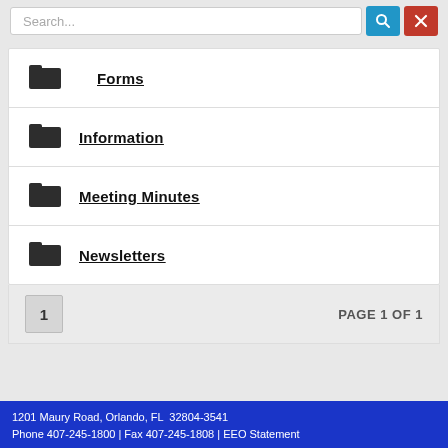[Figure (screenshot): Search bar with blue search button and red clear (x) button]
Forms
Information
Meeting Minutes
Newsletters
1   PAGE 1 OF 1
1201 Maury Road, Orlando, FL  32804-3541
Phone 407-245-1800 | Fax 407-245-1808 | EEO Statement